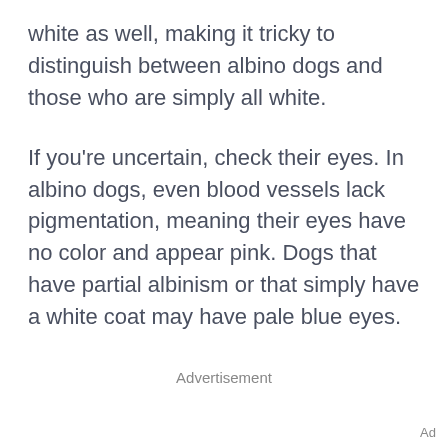white as well, making it tricky to distinguish between albino dogs and those who are simply all white.
If you're uncertain, check their eyes. In albino dogs, even blood vessels lack pigmentation, meaning their eyes have no color and appear pink. Dogs that have partial albinism or that simply have a white coat may have pale blue eyes.
Advertisement
Ad